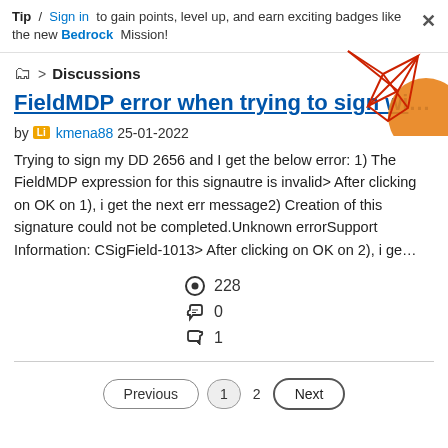Tip / Sign in to gain points, level up, and earn exciting badges like the new Bedrock Mission!
Discussions
FieldMDP error when trying to sign with CAC
by kmena88 25-01-2022
Trying to sign my DD 2656 and I get the below error: 1) The FieldMDP expression for this signautre is invalid> After clicking on OK on 1), i get the next err message2) Creation of this signature could not be completed.Unknown errorSupport Information: CSigField-1013> After clicking on OK on 2), i ge…
228 views, 0 likes, 1 reply
Previous 1 2 Next